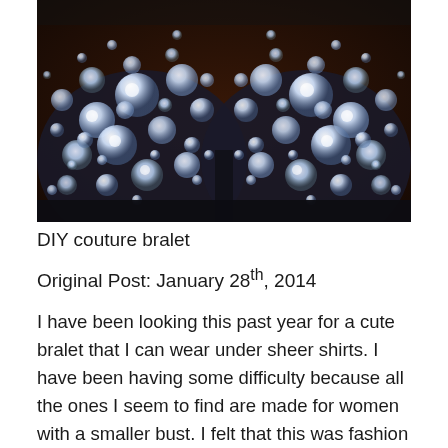[Figure (photo): Close-up photograph of a DIY couture bralet covered in sparkling rhinestones and crystals of various sizes, arranged over a dark base fabric. The background is a dark wooden surface.]
DIY couture bralet
Original Post: January 28th, 2014
I have been looking this past year for a cute bralet that I can wear under sheer shirts. I have been having some difficulty because all the ones I seem to find are made for women with a smaller bust. I felt that this was fashion unfairness and I decided to do something about it. My girls